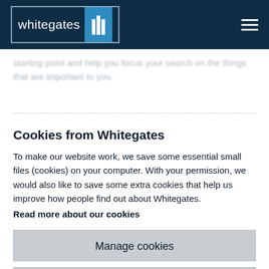Whitegates logo and navigation header
starting point and help you focus your search on the things that are important to you.
Cookies from Whitegates
To make our website work, we save some essential small files (cookies) on your computer. With your permission, we would also like to save some extra cookies that help us improve how people find out about Whitegates.
Read more about our cookies
Manage cookies
Accept all